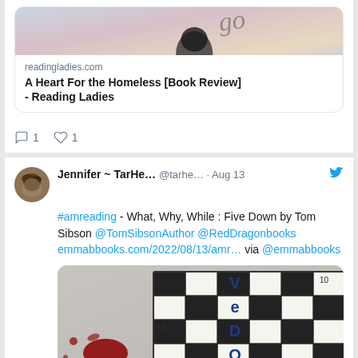[Figure (screenshot): Twitter/social media screenshot showing two tweets. First tweet shows a link preview card for readingladies.com - 'A Heart For the Homeless [Book Review] - Reading Ladies' with an image, 1 comment and 1 like. Second tweet by Jennifer ~ TarHe... @tarhe... Aug 13 mentioning #amreading about 'What, Why, While: Five Down by Tom Sibson @TomSibsonAuthor @RedDragonbooks emmabbooks.com/2022/08/13/amr... via @emmabbooks' with a crossword puzzle book cover image showing blood spatters.]